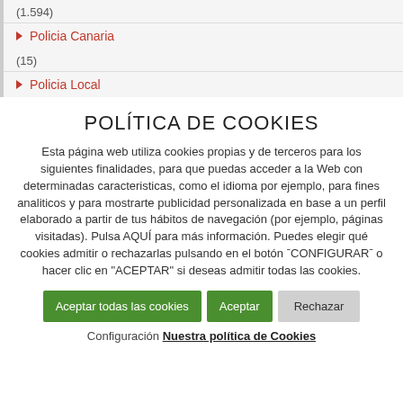(1.594)
Policia Canaria
(15)
Policia Local
POLÍTICA DE COOKIES
Esta página web utiliza cookies propias y de terceros para los siguientes finalidades, para que puedas acceder a la Web con determinadas caracteristicas, como el idioma por ejemplo, para fines analiticos y para mostrarte publicidad personalizada en base a un perfil elaborado a partir de tus hábitos de navegación (por ejemplo, páginas visitadas). Pulsa AQUÍ para más información. Puedes elegir qué cookies admitir o rechazarlas pulsando en el botón ˉCONFIGURARˉ o hacer clic en "ACEPTAR" si deseas admitir todas las cookies.
Aceptar todas las cookies | Aceptar | Rechazar
Configuración Nuestra política de Cookies